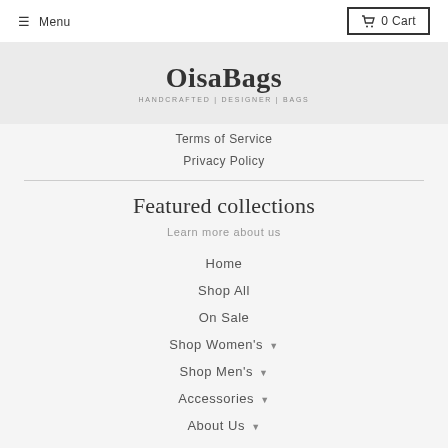Menu | 0 Cart
[Figure (logo): OisaBags logo with tagline HANDCRAFTED | DESIGNER | BAGS]
Terms of Service
Privacy Policy
Featured collections
Learn more about us
Home
Shop All
On Sale
Shop Women's ▾
Shop Men's ▾
Accessories ▾
About Us ▾
New Arrivals